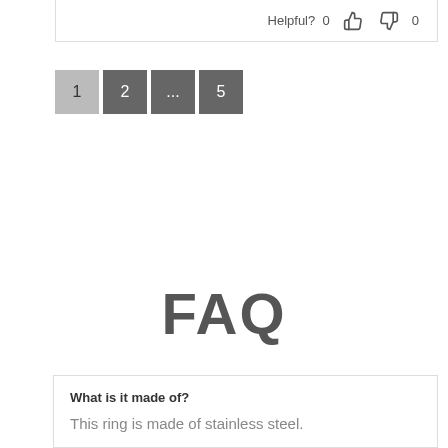Helpful? 0 👍 👎 0
[Figure (other): Pagination control with buttons: 1 (active/light gray), 2, ..., 5 (dark gray)]
FAQ
What is it made of?
This ring is made of stainless steel.